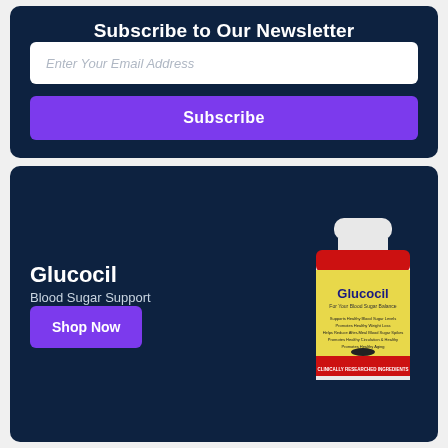Subscribe to Our Newsletter
Enter Your Email Address
Subscribe
Glucocil
Blood Sugar Support
[Figure (photo): Glucocil Blood Sugar Support supplement bottle with yellow label and red band]
Shop Now